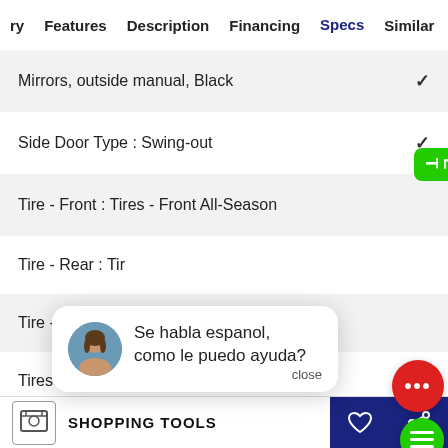ry  Features  Description  Financing  Specs  Similar
Mirrors, outside manual, Black  ✓
Side Door Type : Swing-out  ✓
Tire - Front : Tires - Front All-Season
Tire - Rear : Tir...
Tire - Spare : C...
Tires : Tire Pressure Monitor
[Figure (screenshot): Chat popup with agent avatar saying 'Se habla espanol, como le puedo ayuda?' with close button, red chat bubble with ellipsis icon, and green TEXT US! side button]
SHOPPING TOOLS